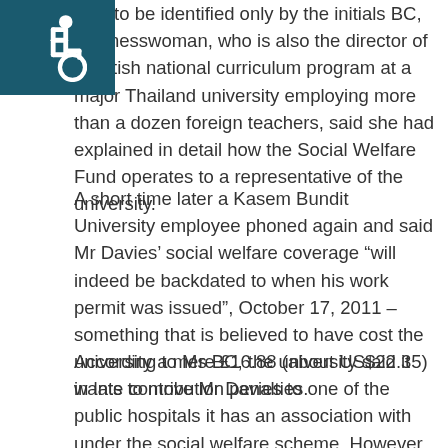[Figure (logo): Disability/wheelchair accessibility icon in white on dark teal square background]
hing to be identified only by the initials BC, the inesswoman, who is also the director of a British national curriculum program at a major Thailand university employing more than a dozen foreign teachers, said she had explained in detail how the Social Welfare Fund operates to a representative of the university.
A short time later a Kasem Bundit University employee phoned again and said Mr Davies’ social welfare coverage “will indeed be backdated to when his work permit was issued”, October 17, 2011 – something that is believed to have cost the university a mere £16.88 (about US$22.35) in late contribution penalties.
According to Ms BC, the university said it wants to move Mr Davies to one of the public hospitals it has an association with under the social welfare scheme. However, the hospital proposed is one that Mr Davies was taken to when he first fell ill and does not have the necessary expertise to treat the wide range of ailments